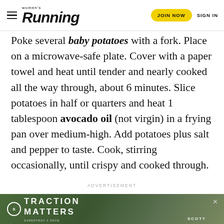Women's Running | JOIN NOW | SIGN IN
Poke several baby potatoes with a fork. Place on a microwave-safe plate. Cover with a paper towel and heat until tender and nearly cooked all the way through, about 6 minutes. Slice potatoes in half or quarters and heat 1 tablespoon avocado oil (not virgin) in a frying pan over medium-high. Add potatoes plus salt and pepper to taste. Cook, stirring occasionally, until crispy and cooked through.
ADVERTISEMENT
[Figure (photo): Scott brand advertisement banner showing a trail runner with text TRACTION MATTERS and SCOTT logo]